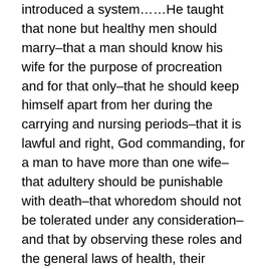introduced a system……He taught that none but healthy men should marry–that a man should know his wife for the purpose of procreation and for that only–that he should keep himself apart from her during the carrying and nursing periods–that it is lawful and right, God commanding, for a man to have more than one wife–that adultery should be punishable with death–that whoredom should not be tolerated under any consideration–and that by observing these roles and the general laws of health, their posterity would become healthy and vigorous…
This theory is reduced to practice in Utah Territory; and it is remarked by immigrants passing through Salt Lake City, that the proportion of children is unusually great, and they are uncommonly robust and healthy. Who cannot see that the mental vigor of those children will be in proportion to